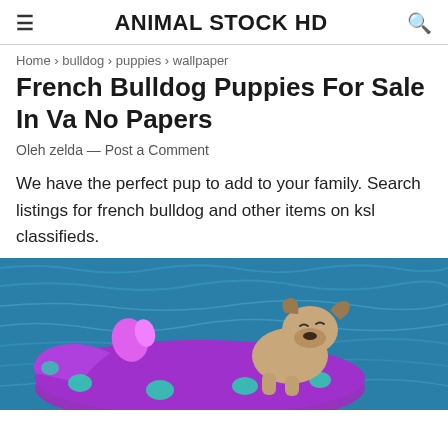ANIMAL STOCK HD
Home › bulldog › puppies › wallpaper
French Bulldog Puppies For Sale In Va No Papers
Oleh zelda — Post a Comment
We have the perfect pup to add to your family. Search listings for french bulldog and other items on ksl classifieds.
[Figure (photo): A French Bulldog puppy sitting on a purple polka-dot inflatable float in a swimming pool with blue water.]